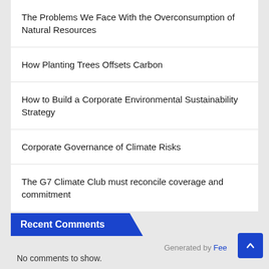The Problems We Face With the Overconsumption of Natural Resources
How Planting Trees Offsets Carbon
How to Build a Corporate Environmental Sustainability Strategy
Corporate Governance of Climate Risks
The G7 Climate Club must reconcile coverage and commitment
Recent Comments
No comments to show.
Generated by Fee